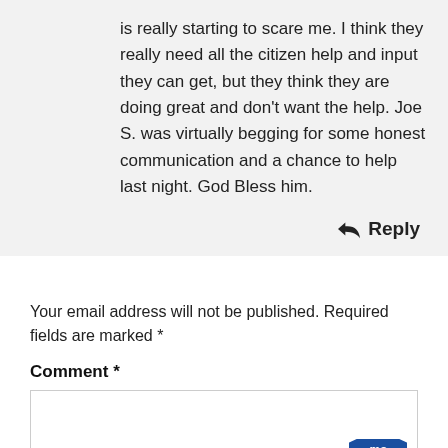is really starting to scare me. I think they really need all the citizen help and input they can get, but they think they are doing great and don't want the help. Joe S. was virtually begging for some honest communication and a chance to help last night. God Bless him.
Reply
Your email address will not be published. Required fields are marked *
Comment *